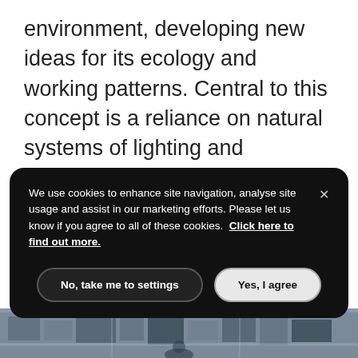environment, developing new ideas for its ecology and working patterns. Central to this concept is a reliance on natural systems of lighting and ventilation. Every office is daylit and has openable windows, allowing the occupants to control their own environment. The result is energy consumption levels equivalent to half those of conventional office towers – the offices are now
[Figure (photo): Aerial photograph of buildings/urban area visible at the bottom of the page]
We use cookies to enhance site navigation, analyse site usage and assist in our marketing efforts. Please let us know if you agree to all of these cookies. Click here to find out more.